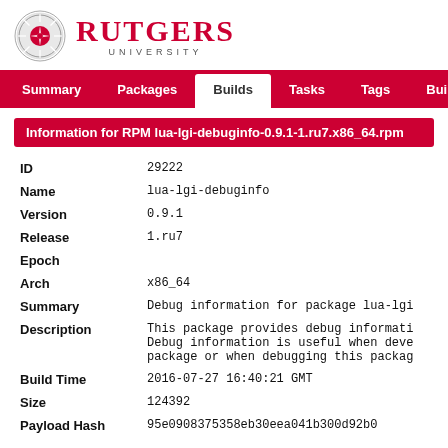[Figure (logo): Rutgers University logo with circular seal and red text]
Summary | Packages | Builds | Tasks | Tags | Build Targ...
Information for RPM lua-lgi-debuginfo-0.9.1-1.ru7.x86_64.rpm
| Field | Value |
| --- | --- |
| ID | 29222 |
| Name | lua-lgi-debuginfo |
| Version | 0.9.1 |
| Release | 1.ru7 |
| Epoch |  |
| Arch | x86_64 |
| Summary | Debug information for package lua-lgi |
| Description | This package provides debug informati...
Debug information is useful when deve...
package or when debugging this packag... |
| Build Time | 2016-07-27 16:40:21 GMT |
| Size | 124392 |
| Payload Hash | 95e0908375358eb30eea041b300d92b0 |